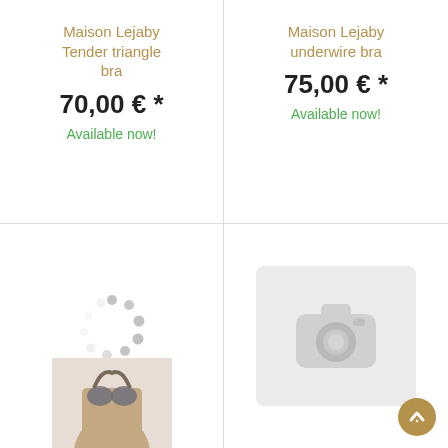Maison Lejaby Tender triangle bra
70,00 € *
Available now!
Maison Lejaby underwire bra
75,00 € *
Available now!
[Figure (photo): Loading spinner dots over a partially visible product image of a woman wearing a bra]
[Figure (photo): Camera placeholder icon on light grey background, indicating image not loaded]